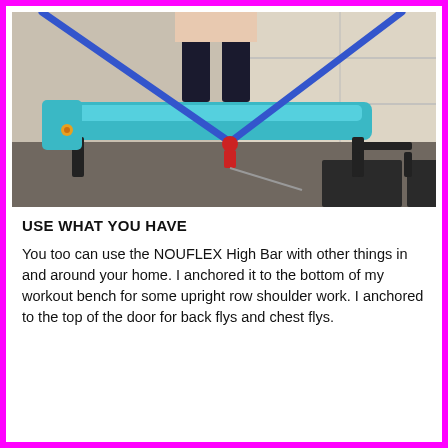[Figure (photo): Person standing straddling a workout bench in a garage, using blue resistance bands attached to the bottom of the bench for upright row exercise. The NOUFLEX High Bar system is visible anchored to the bench.]
USE WHAT YOU HAVE
You too can use the NOUFLEX High Bar with other things in and around your home. I anchored it to the bottom of my workout bench for some upright row shoulder work. I anchored to the top of the door for back flys and chest flys.